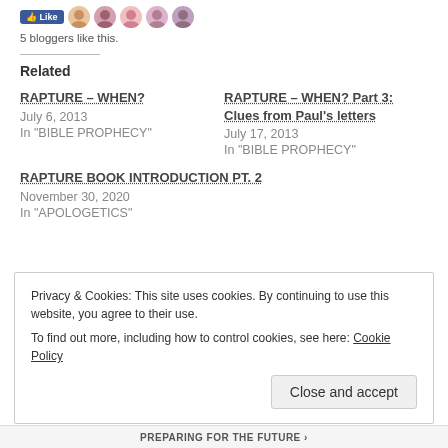[Figure (illustration): Row of social avatars/profile images next to a Like button]
5 bloggers like this.
Related
RAPTURE – WHEN?
July 6, 2013
In "BIBLE PROPHECY"
RAPTURE – WHEN? Part 3: Clues from Paul's letters
July 17, 2013
In "BIBLE PROPHECY"
RAPTURE BOOK INTRODUCTION PT. 2
November 30, 2020
In "APOLOGETICS"
Privacy & Cookies: This site uses cookies. By continuing to use this website, you agree to their use.
To find out more, including how to control cookies, see here: Cookie Policy
PREPARING FOR THE FUTURE ›